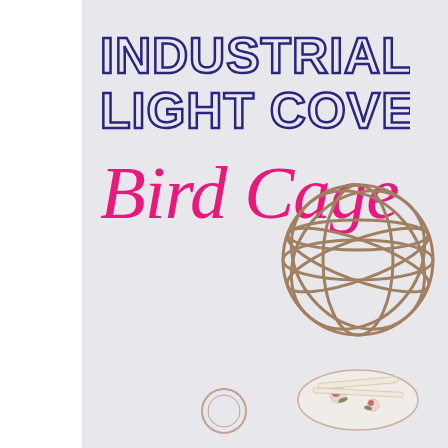INDUSTRIAL LIGHT COVER Bird Cage
[Figure (photo): Decorative bird cage orb / industrial light cover made of metal wire rings, sitting on a white floral ceramic piece with paper ribbon, photographed in bottom-right corner of image]